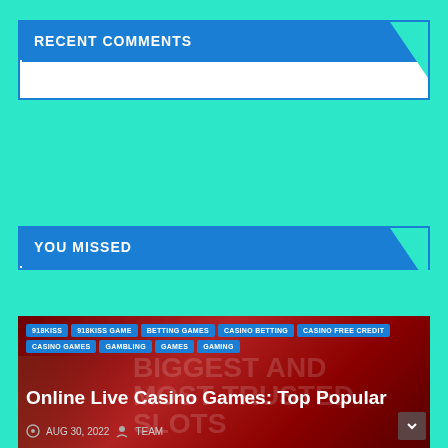RECENT COMMENTS
YOU MISSED
[Figure (screenshot): Article card with dark red background showing casino-related tags and article title 'Online Live Casino Games: Top Popular' dated AUG 30, 2022 by TEAM]
Online Live Casino Games: Top Popular
AUG 30, 2022  TEAM